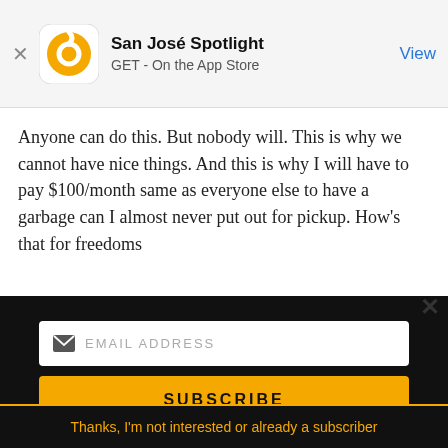[Figure (screenshot): App Store smart banner showing San José Spotlight app icon (orange circular logo), title 'San José Spotlight', subtitle 'GET - On the App Store', and a blue 'View' button on the right. A close X is on the left.]
Anyone can do this. But nobody will. This is why we cannot have nice things. And this is why I will have to pay $100/month same as everyone else to have a garbage can I almost never put out for pickup. How's that for freedoms
[Figure (screenshot): San José Spotlight advertisement banner with logo, tagline 'Where San Jose locals start the day.' and website sanjosespotlight.com. Right side shows a photo of a tablet with the app open, next to a coffee cup.]
[Figure (screenshot): Email subscription form with 'EMAIL ADDRESS' placeholder input field and a gold 'SUBSCRIBE' button on a black background.]
Thanks, I'm not interested or already a subscriber